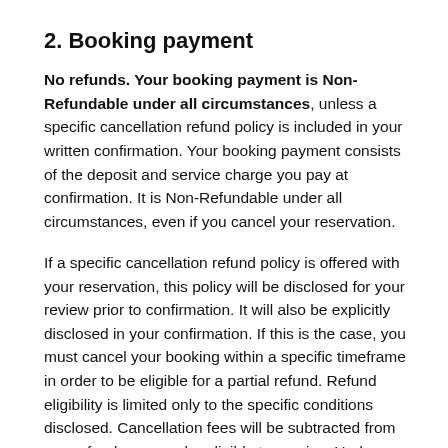2. Booking payment
No refunds. Your booking payment is Non-Refundable under all circumstances, unless a specific cancellation refund policy is included in your written confirmation. Your booking payment consists of the deposit and service charge you pay at confirmation. It is Non-Refundable under all circumstances, even if you cancel your reservation.
If a specific cancellation refund policy is offered with your reservation, this policy will be disclosed for your review prior to confirmation. It will also be explicitly disclosed in your confirmation. If this is the case, you must cancel your booking within a specific timeframe in order to be eligible for a partial refund. Refund eligibility is limited only to the specific conditions disclosed. Cancellation fees will be subtracted from any refund you may be eligible to receive. Under no circumstances will any